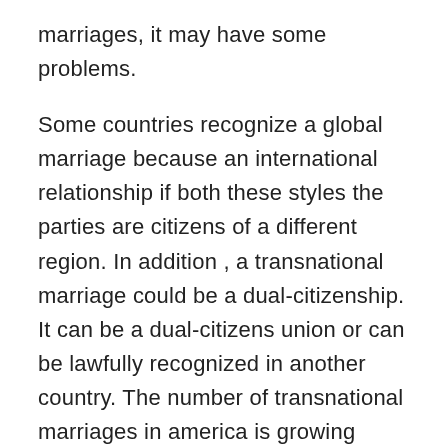marriages, it may have some problems.
Some countries recognize a global marriage because an international relationship if both these styles the parties are citizens of a different region. In addition , a transnational marriage could be a dual-citizenship. It can be a dual-citizens union or can be lawfully recognized in another country. The number of transnational marriages in america is growing gradually, but the percentage of people who get married to outside all their country might not be able to acquire a legal matrimony.
To marry in the United States, you need to meet the requirements of the country